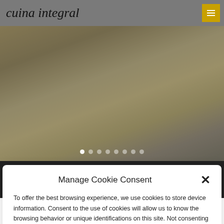cuina integral
[Figure (photo): Blurred photo of a modern kitchen interior with yellow accents and white cabinetry, with carousel navigation dots at the bottom]
REQUEST AN APPOINTMENT
Manage Cookie Consent
To offer the best browsing experience, we use cookies to store device information. Consent to the use of cookies will allow us to know the browsing behavior or unique identifications on this site. Not consenting or withdrawing consent may negatively affect certain features and functions of the website.